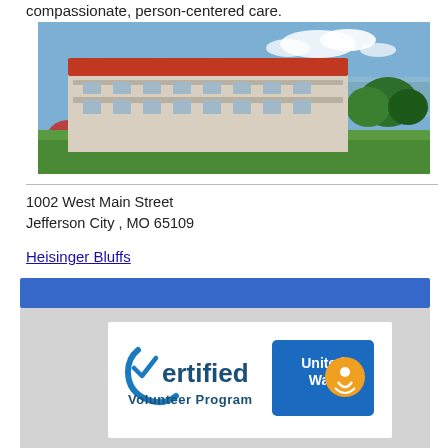compassionate, person-centered care.
[Figure (photo): Aerial or elevated view of a large multi-story building with red roof and white balconies, situated near a river with trees and green lawn in foreground, blue sky with clouds in background. Identified as Heisinger Bluffs.]
1002 West Main Street
Jefferson City , MO 65109
Heisinger Bluffs
[Figure (logo): Two logos side by side: 'Certified Volunteer Program' logo in blue and 'United Way' logo in blue with a circular sun/people emblem on a blue background.]